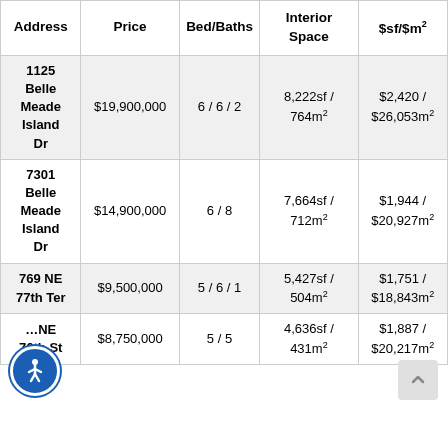| Address | Price | Bed/Baths | Interior Space | $sf/$m² | WF/ |
| --- | --- | --- | --- | --- | --- |
| 1125 Belle Meade Island Dr | $19,900,000 | 6 / 6 / 2 | 8,222sf / 764m² | $2,420 / $26,053m² | Y |
| 7301 Belle Meade Island Dr | $14,900,000 | 6 / 8 | 7,664sf / 712m² | $1,944 / $20,927m² | Y |
| 769 NE 77th Ter | $9,500,000 | 5 / 6 / 1 | 5,427sf / 504m² | $1,751 / $18,843m² | Y |
| …NE 76th St | $8,750,000 | 5 / 5 | 4,636sf / 431m² | $1,887 / $20,217m² | Y |